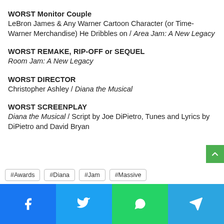WORST Monitor Couple
LeBron James & Any Warner Cartoon Character (or Time-Warner Merchandise) He Dribbles on / Area Jam: A New Legacy
WORST REMAKE, RIP-OFF or SEQUEL
Room Jam: A New Legacy
WORST DIRECTOR
Christopher Ashley / Diana the Musical
WORST SCREENPLAY
Diana the Musical / Script by Joe DiPietro, Tunes and Lyrics by DiPietro and David Bryan
#Awards
#Diana
#Jam
#Massive